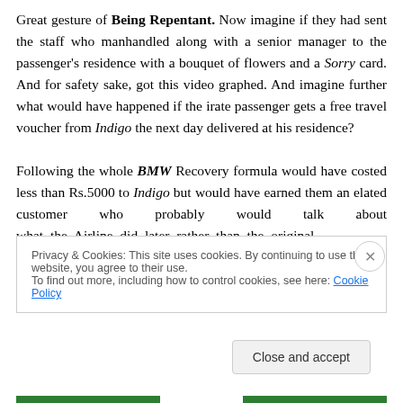Great gesture of Being Repentant. Now imagine if they had sent the staff who manhandled along with a senior manager to the passenger's residence with a bouquet of flowers and a Sorry card. And for safety sake, got this video graphed. And imagine further what would have happened if the irate passenger gets a free travel voucher from Indigo the next day delivered at his residence?

Following the whole BMW Recovery formula would have costed less than Rs.5000 to Indigo but would have earned them an elated customer who probably would talk about what the Airline did later rather than the original
Privacy & Cookies: This site uses cookies. By continuing to use this website, you agree to their use.
To find out more, including how to control cookies, see here: Cookie Policy